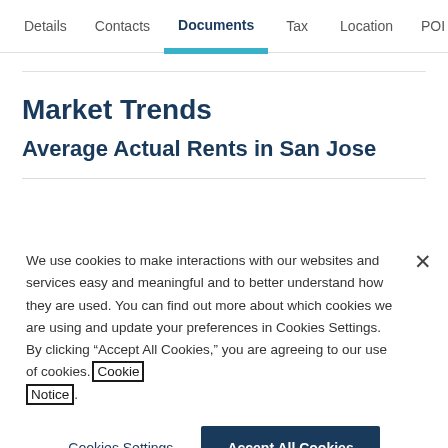Details   Contacts   Documents   Tax   Location   POI
Market Trends
Average Actual Rents in San Jose
We use cookies to make interactions with our websites and services easy and meaningful and to better understand how they are used. You can find out more about which cookies we are using and update your preferences in Cookies Settings. By clicking “Accept All Cookies,” you are agreeing to our use of cookies. Cookie Notice.
Cookies Settings   Accept All Cookies